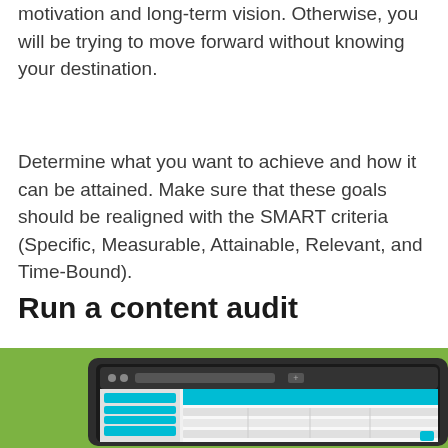motivation and long-term vision. Otherwise, you will be trying to move forward without knowing your destination.
Determine what you want to achieve and how it can be attained. Make sure that these goals should be realigned with the SMART criteria (Specific, Measurable, Attainable, Relevant, and Time-Bound).
Run a content audit
[Figure (illustration): Illustration of a laptop/monitor on a green background showing a browser window with teal-colored UI elements including navigation bars, a sidebar with teal rows, and a content area with a teal header and table-like rows below.]